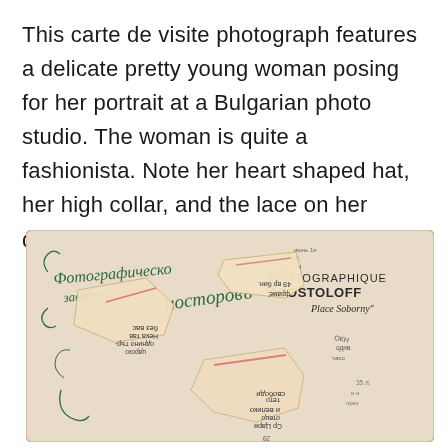This carte de visite photograph features a delicate pretty young woman posing for her portrait at a Bulgarian photo studio. The woman is quite a fashionista. Note her heart shaped hat, her high collar, and the lace on her dress.  (SOLD)
[Figure (photo): Back of a Bulgarian carte de visite photograph showing aged cream/beige cardboard with ornate Cyrillic and French text including 'Photographie APOSTOLOFF Place Soborny' and decorative green script lettering. Several pieces of torn paper fragments with Cyrillic text are pasted or layered on top, some with pink/red ink marks.]